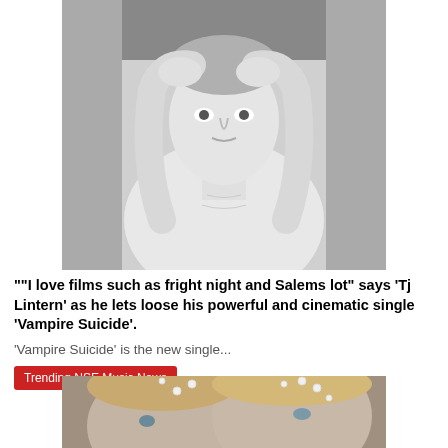[Figure (photo): Black and white photo of a shirtless man with hands raised to his head, looking directly at camera]
""I love films such as fright night and Salems lot" says 'Tj Lintern' as he lets loose his powerful and cinematic single 'Vampire Suicide'.
'Vampire Suicide' is the new single...
Trending NSE Music News
[Figure (photo): Color photo of two women with pearls in their hair, looking upward]